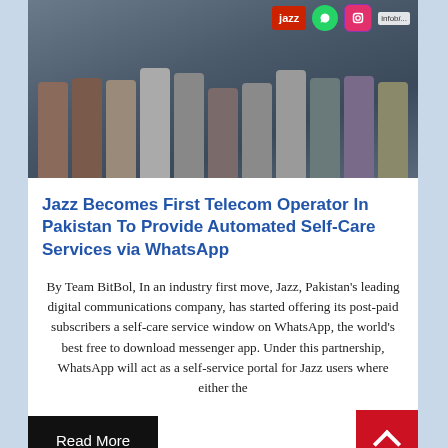[Figure (photo): Group photo of approximately 12 people standing together indoors in front of a backdrop with Jazz, WhatsApp, Instagram, and Infobi logos.]
Jazz Becomes First Telecom Operator In Pakistan To Provide Automated Self-Care Services via WhatsApp
By Team BitBol, In an industry first move, Jazz, Pakistan's leading digital communications company, has started offering its post-paid subscribers a self-care service window on WhatsApp, the world's best free to download messenger app. Under this partnership, WhatsApp will act as a self-service portal for Jazz users where either the
Read More